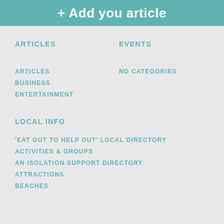+ Add you article
ARTICLES
EVENTS
ARTICLES
NO CATEGORIES
BUSINESS
ENTERTAINMENT
LOCAL INFO
'EAT OUT TO HELP OUT' LOCAL DIRECTORY
ACTIVITIES & GROUPS
AN ISOLATION SUPPORT DIRECTORY
ATTRACTIONS
BEACHES